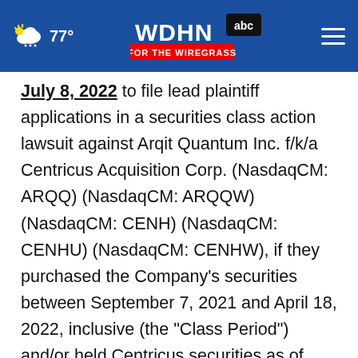77° WDHN FOR THE WIREGRASS
July 8, 2022 to file lead plaintiff applications in a securities class action lawsuit against Arqit Quantum Inc. f/k/a Centricus Acquisition Corp. (NasdaqCM: ARQQ) (NasdaqCM: ARQQW) (NasdaqCM: CENH) (NasdaqCM: CENHU) (NasdaqCM: CENHW), if they purchased the Company's securities between September 7, 2021 and April 18, 2022, inclusive (the "Class Period") and/or held Centricus securities as of August 31, 2021 and were eligible to vote at the special meeting on the merger between Arqit and Centricus. This action is pending in the